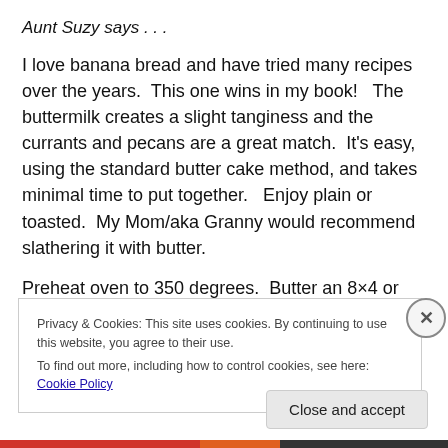Aunt Suzy says . . .
I love banana bread and have tried many recipes over the years.  This one wins in my book!   The buttermilk creates a slight tanginess and the currants and pecans are a great match.  It's easy, using the standard butter cake method, and takes minimal time to put together.   Enjoy plain or toasted.  My Mom/aka Granny would recommend slathering it with butter.
Preheat oven to 350 degrees.  Butter an 8×4 or 9×5 bread
Privacy & Cookies: This site uses cookies. By continuing to use this website, you agree to their use.
To find out more, including how to control cookies, see here: Cookie Policy
Close and accept